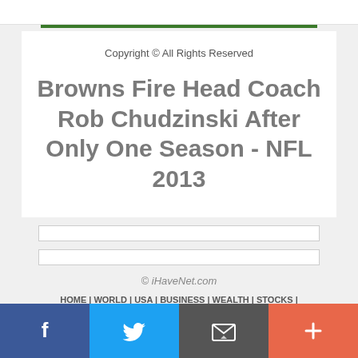Copyright © All Rights Reserved
Browns Fire Head Coach Rob Chudzinski After Only One Season - NFL 2013
© iHaveNet.com
HOME | WORLD | USA | BUSINESS | WEALTH | STOCKS
[Figure (infographic): Social share bar with Facebook, Twitter, email/envelope, and plus buttons]